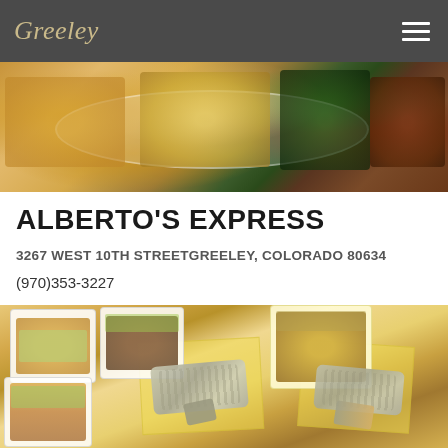Greeley
[Figure (photo): Top portion of a plate of Mexican food showing rice, cheese, dark beans, green chile, and meat]
ALBERTO'S EXPRESS
3267 WEST 10TH STREETGREELEY, COLORADO 80634
(970)353-3227
[Figure (photo): Overhead view of Mexican food items in white styrofoam containers and burritos on yellow paper on a tan table]